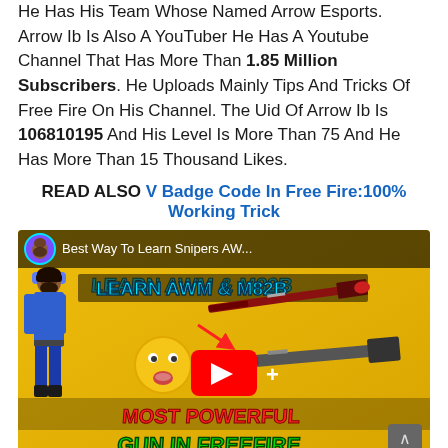He Has His Team Whose Named Arrow Esports. Arrow Ib Is Also A YouTuber He Has A Youtube Channel That Has More Than 1.85 Million Subscribers. He Uploads Mainly Tips And Tricks Of Free Fire On His Channel. The Uid Of Arrow Ib Is 106810195 And His Level Is More Than 75 And He Has More Than 15 Thousand Likes.
READ ALSO V Badge Code In Free Fire:100% Working Trick
[Figure (screenshot): YouTube video thumbnail showing 'Best Way To Learn Snipers AW...' with a Free Fire character in blue suit, sniper rifles (AWM and M82B), a red YouTube play button, emoji, and text 'MOST POWERFUL GUN IN FREEFIRE' on a yellow background.]